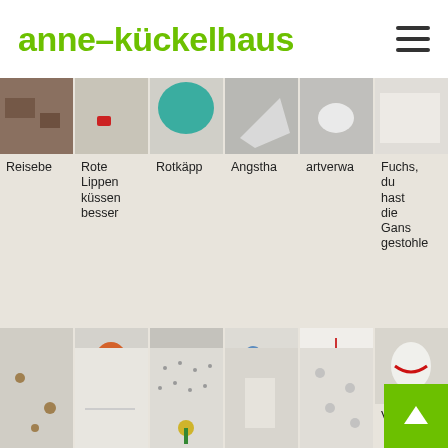anne–kückelhaus
[Figure (photo): Row of 6 art work thumbnail images, partially cropped at top]
Reisebe
Rote Lippen küssen besser
Rotkäpp
Angstha
artverwa
Fuchs, du hast die Gans gestohle
[Figure (photo): Row of 6 art work thumbnail images of animal sculptures]
Heiß geliebt
Hinterla:
Katzenja
Night sky's blue
so oder so
Verstrick
[Figure (photo): Row of 6 art installation thumbnail images, partially cropped at bottom]